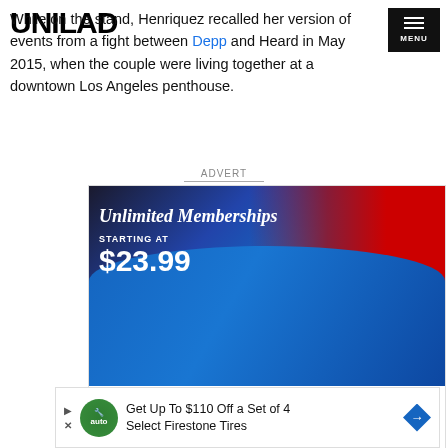UNILAD | MENU
While on the stand, Henriquez recalled her version of events from a fight between Depp and Heard in May 2015, when the couple were living together at a downtown Los Angeles penthouse.
ADVERT
[Figure (photo): Car wash advertisement showing a blue sports car going through a car wash with red brushes. Text overlay reads: Unlimited Memberships STARTING AT $23.99. Branded as Flagship Car Wash.]
[Figure (photo): Advertisement: Get Up To $110 Off a Set of 4 Select Firestone Tires, with Firestone auto logo and blue diamond arrow icon.]